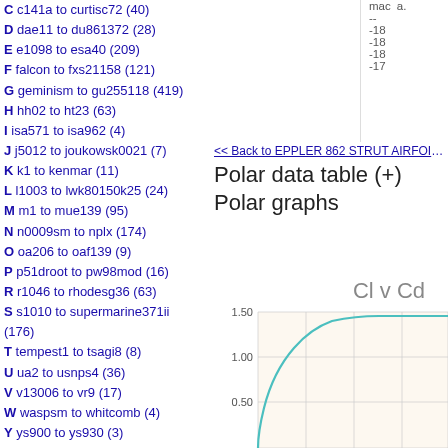C c141a to curtisc72 (40)
D dae11 to du861372 (28)
E e1098 to esa40 (209)
F falcon to fxs21158 (121)
G geminism to gu255118 (419)
H hh02 to ht23 (63)
I isa571 to isa962 (4)
J j5012 to joukowsk0021 (7)
K k1 to kenmar (11)
L l1003 to lwk80150k25 (24)
M m1 to mue139 (95)
N n0009sm to nplx (174)
O oa206 to oaf139 (9)
P p51droot to pw98mod (16)
R r1046 to rhodesg36 (63)
S s1010 to supermarine371ii (176)
T tempest1 to tsagi8 (8)
U ua2 to usnps4 (36)
V v13006 to vr9 (17)
W waspsm to whitcomb (4)
Y ys900 to ys930 (3)
List of all airfoils
Site
Home
Contact
Privacy Policy
<< Back to EPPLER 862 STRUT AIRFOIL (e8...
Polar data table (+)
Polar graphs
[Figure (continuous-plot): Cl v Cd polar graph showing a curve starting low and curving up to around Cl=1.20, with y-axis values 0.50, 1.00, 1.50 visible and x-axis (Cd) partially visible. Background is light beige with grid lines.]
| mac | a. |
| --- | --- |
| -- |  |
| -18 |  |
| -18 |  |
| -18 |  |
| -17 |  |